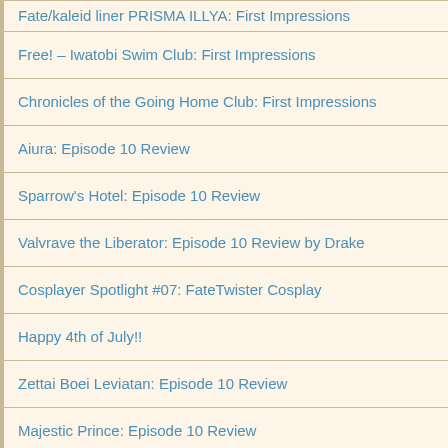Fate/kaleid liner PRISMA ILLYA: First Impressions
Free! – Iwatobi Swim Club: First Impressions
Chronicles of the Going Home Club: First Impressions
Aiura: Episode 10 Review
Sparrow's Hotel: Episode 10 Review
Valvrave the Liberator: Episode 10 Review by Drake
Cosplayer Spotlight #07: FateTwister Cosplay
Happy 4th of July!!
Zettai Boei Leviatan: Episode 10 Review
Majestic Prince: Episode 10 Review
Gargantia on the Verduous Planet: Episode 10 Review by Skie
Aniplex Acquires Day Break Illusion!
Otakon 20 to Premiere Wolf Children with Mike McFarland
Shinichiro Watanabe to Appear at Otakon 20